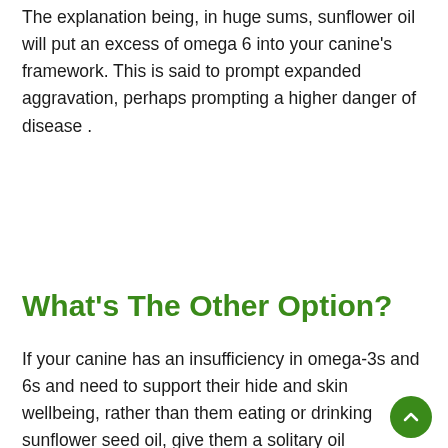The explanation being, in huge sums, sunflower oil will put an excess of omega 6 into your canine's framework. This is said to prompt expanded aggravation, perhaps prompting a higher danger of disease .
What's The Other Option?
If your canine has an insufficiency in omega-3s and 6s and need to support their hide and skin wellbeing, rather than them eating or drinking sunflower seed oil, give them a solitary oil supplement.
There are a lot of them available, yet they current best as I would see it would be this fish oil for canines with omega